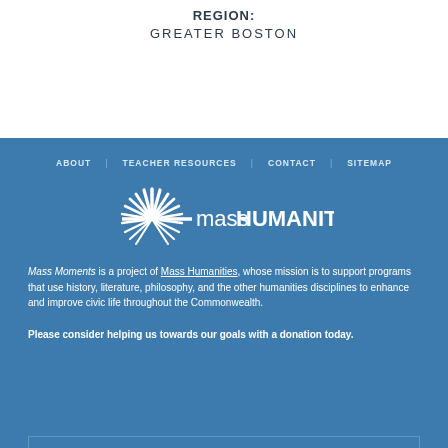REGION:
GREATER BOSTON
ABOUT   TEACHER RESOURCES   CONTACT   SITEMAP
[Figure (logo): Mass Humanities logo: white sunburst/starburst icon on the left with the text 'massHUMANITIES' in white to the right, on blue background]
Mass Moments is a project of Mass Humanities, whose mission is to support programs that use history, literature, philosophy, and the other humanities disciplines to enhance and improve civic life throughout the Commonwealth.
Please consider helping us towards our goals with a donation today.